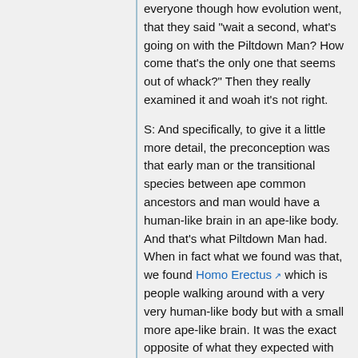everyone though how evolution went, that they said "wait a second, what's going on with the Piltdown Man? How come that's the only one that seems out of whack?" Then they really examined it and woah it's not right.
S: And specifically, to give it a little more detail, the preconception was that early man or the transitional species between ape common ancestors and man would have a human-like brain in an ape-like body. And that's what Piltdown Man had. When in fact what we found was that, we found Homo Erectus which is people walking around with a very very human-like body but with a small more ape-like brain. It was the exact opposite of what they expected with Piltdown.
P: Like Jay!
S: But by the time, with each new fossil